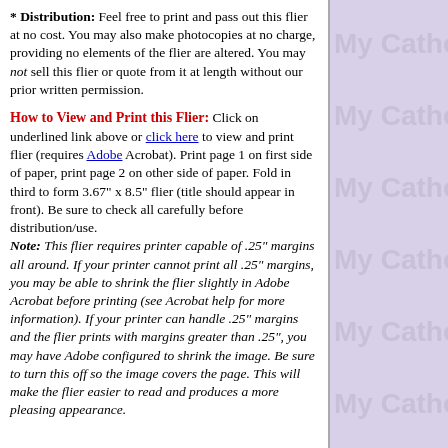* Distribution: Feel free to print and pass out this flier at no cost. You may also make photocopies at no charge, providing no elements of the flier are altered. You may not sell this flier or quote from it at length without our prior written permission.
How to View and Print this Flier: Click on underlined link above or click here to view and print flier (requires Adobe Acrobat). Print page 1 on first side of paper, print page 2 on other side of paper. Fold in third to form 3.67" x 8.5" flier (title should appear in front). Be sure to check all carefully before distribution/use. Note: This flier requires printer capable of .25" margins all around. If your printer cannot print all .25" margins, you may be able to shrink the flier slightly in Adobe Acrobat before printing (see Acrobat help for more information). If your printer can handle .25" margins and the flier prints with margins greater than .25", you may have Adobe configured to shrink the image. Be sure to turn this off so the image covers the page. This will make the flier easier to read and produces a more pleasing appearance.
[Figure (illustration): Repeating 'My Catho' text watermark in light purple/lavender on right side panel]